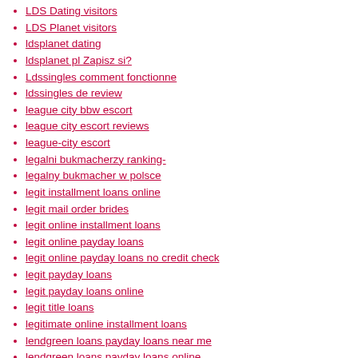LDS Dating visitors
LDS Planet visitors
ldsplanet dating
ldsplanet pl Zapisz si?
Ldssingles comment fonctionne
ldssingles de review
league city bbw escort
league city escort reviews
league-city escort
legalni bukmacherzy ranking-
legalny bukmacher w polsce
legit installment loans online
legit mail order brides
legit online installment loans
legit online payday loans
legit online payday loans no credit check
legit payday loans
legit payday loans online
legit title loans
legitimate online installment loans
lendgreen loans payday loans near me
lendgreen loans payday loans online
lending club personal loans best online payday loans
lending club personal loans pay day loans
lending club personal loans payday loans